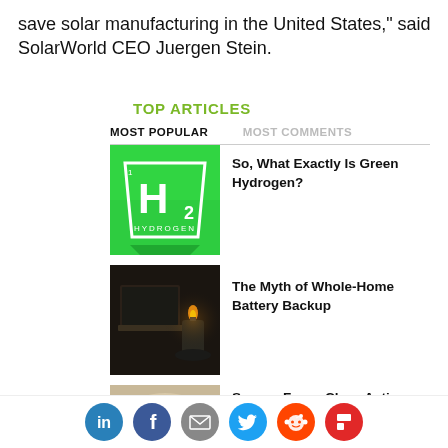save solar manufacturing in the United States," said SolarWorld CEO Juergen Stein.
TOP ARTICLES
MOST POPULAR   MOST COMMENTS
[Figure (illustration): Green periodic table element tile for Hydrogen (H2) on green background]
So, What Exactly Is Green Hydrogen?
[Figure (photo): Dark photo of a laptop and a lit candle on a table, power outage scene]
The Myth of Whole-Home Battery Backup
[Figure (photo): Partially visible image for Sunrun article]
Sunrun Faces Class Action Lawsuit Over Its Marketing
[Figure (other): Social sharing bar with LinkedIn, Facebook, Email, Twitter, Reddit, Flipboard icons]